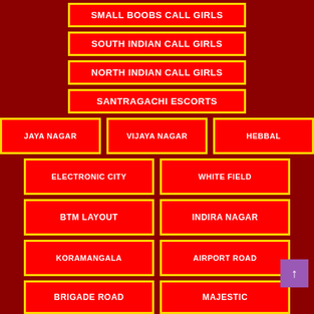SMALL BOOBS CALL GIRLS
SOUTH INDIAN CALL GIRLS
NORTH INDIAN CALL GIRLS
SANTRAGACHI ESCORTS
JAYA NAGAR
VIJAYA NAGAR
HEBBAL
ELECTRONIC CITY
WHITE FIELD
BTM LAYOUT
INDIRA NAGAR
KORAMANGALA
AIRPORT ROAD
BRIGADE ROAD
MAJESTIC